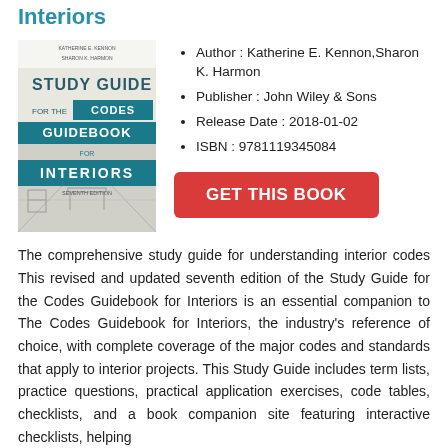Interiors
[Figure (illustration): Book cover of Study Guide for the Codes Guidebook for Interiors, seventh edition, showing interior design imagery with teal and white text on a blue/teal background.]
Author : Katherine E. Kennon,Sharon K. Harmon
Publisher : John Wiley & Sons
Release Date : 2018-01-02
ISBN : 9781119345084
GET THIS BOOK
The comprehensive study guide for understanding interior codes This revised and updated seventh edition of the Study Guide for the Codes Guidebook for Interiors is an essential companion to The Codes Guidebook for Interiors, the industry's reference of choice, with complete coverage of the major codes and standards that apply to interior projects. This Study Guide includes term lists, practice questions, practical application exercises, code tables, checklists, and a book companion site featuring interactive checklists, helping